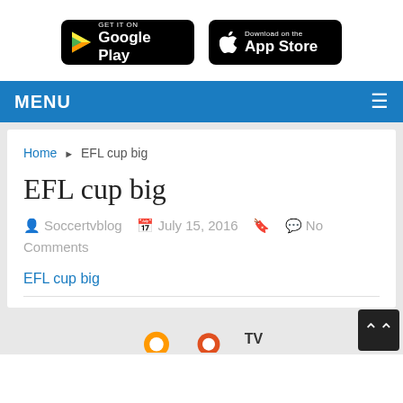[Figure (screenshot): Google Play Store download button (black rounded rectangle with Play triangle icon)]
[Figure (screenshot): Apple App Store download button (black rounded rectangle with Apple logo)]
MENU
Home › EFL cup big
EFL cup big
Soccertvblog   July 15, 2016     No Comments
EFL cup big